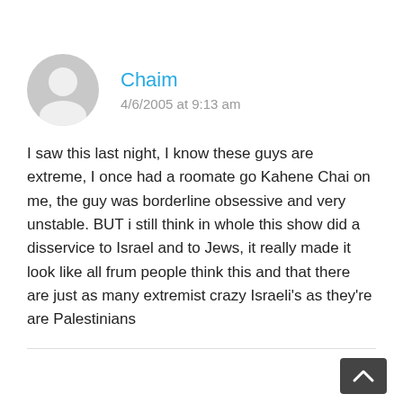Chaim
4/6/2005 at 9:13 am
I saw this last night, I know these guys are extreme, I once had a roomate go Kahene Chai on me, the guy was borderline obsessive and very unstable. BUT i still think in whole this show did a disservice to Israel and to Jews, it really made it look like all frum people think this and that there are just as many extremist crazy Israeli's as they're are Palestinians